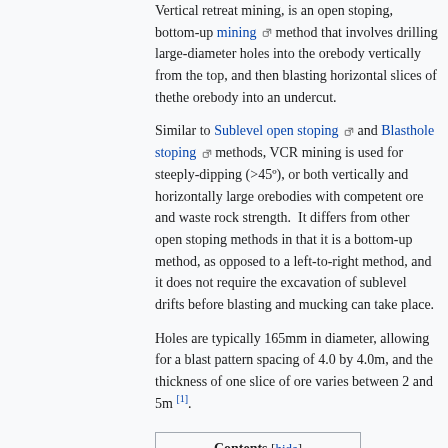Vertical retreat mining, is an open stoping, bottom-up mining method that involves drilling large-diameter holes into the orebody vertically from the top, and then blasting horizontal slices of thethe orebody into an undercut.
Similar to Sublevel open stoping and Blasthole stoping methods, VCR mining is used for steeply-dipping (>45º), or both vertically and horizontally large orebodies with competent ore and waste rock strength.  It differs from other open stoping methods in that it is a bottom-up method, as opposed to a left-to-right method, and it does not require the excavation of sublevel drifts before blasting and mucking can take place.
Holes are typically 165mm in diameter, allowing for a blast pattern spacing of 4.0 by 4.0m, and the thickness of one slice of ore varies between 2 and 5m [1].
| Contents |
| --- |
| 1  History |